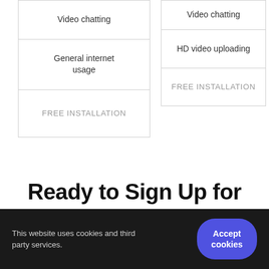| Video chatting |
| General internet usage |
| FREE INSTALLATION |
| Video chatting |
| HD video uploading |
| FREE INSTALLATION |
Ready to Sign Up for
This website uses cookies and third party services.